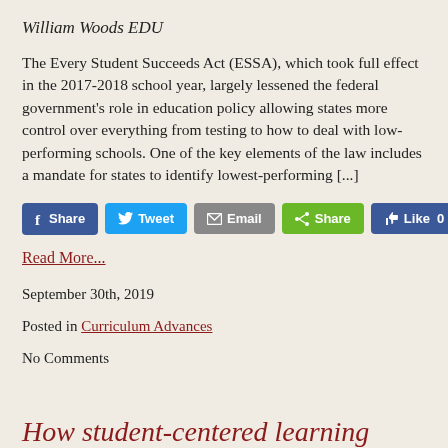William Woods EDU
The Every Student Succeeds Act (ESSA), which took full effect in the 2017-2018 school year, largely lessened the federal government's role in education policy allowing states more control over everything from testing to how to deal with low-performing schools. One of the key elements of the law includes a mandate for states to identify lowest-performing [...]
[Figure (other): Social sharing buttons: Facebook Share, Twitter Tweet, Email, Share, and Facebook Like 0]
Read More...
September 30th, 2019
Posted in Curriculum Advances
No Comments
How student-centered learning